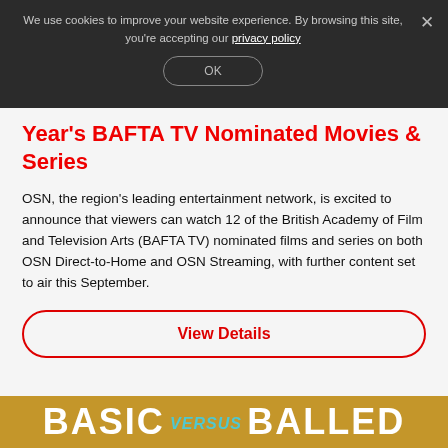We use cookies to improve your website experience. By browsing this site, you're accepting our privacy policy
Year's BAFTA TV Nominated Movies & Series
OSN, the region's leading entertainment network, is excited to announce that viewers can watch 12 of the British Academy of Film and Television Arts (BAFTA TV) nominated films and series on both OSN Direct-to-Home and OSN Streaming, with further content set to air this September.
View Details
[Figure (other): Bottom banner with text BASIC versus BALLED on a golden/yellow background]